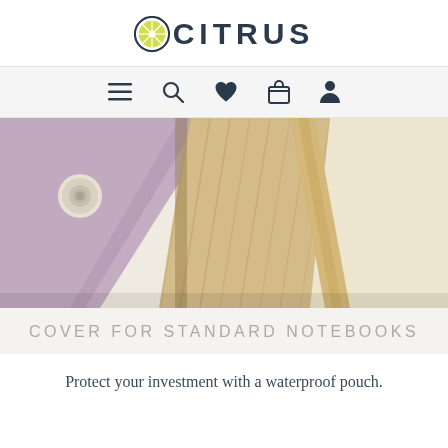OCITRUS
[Figure (screenshot): Navigation bar with icons: hamburger menu, search, heart/wishlist, shopping bag, user account]
[Figure (photo): Close-up photo of a purple fabric notebook cover with wooden pages/bookmark detail and a golden ribbon bookmark]
COVER FOR STANDARD NOTEBOOKS
Protect your investment with a waterproof pouch.